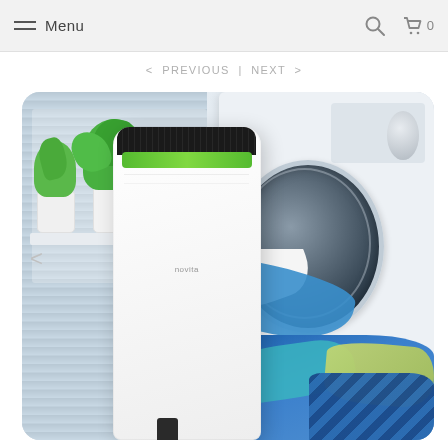Menu
< PREVIOUS | NEXT >
[Figure (photo): Product photo of a Novita dehumidifier (white unit with black top grille and green accent strip) shown in a laundry room setting with a front-loading washing machine and colorful laundry, plants on a windowsill, and venetian blinds in the background. A left navigation arrow is visible on the left edge of the image.]